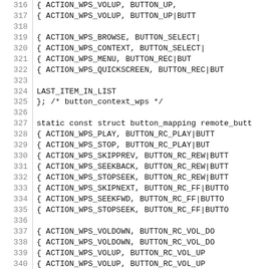[Figure (screenshot): Source code listing showing C code for button_context_wps and remote_button_mapping arrays, lines 316-345, with line numbers on the left and monospace code on the right.]